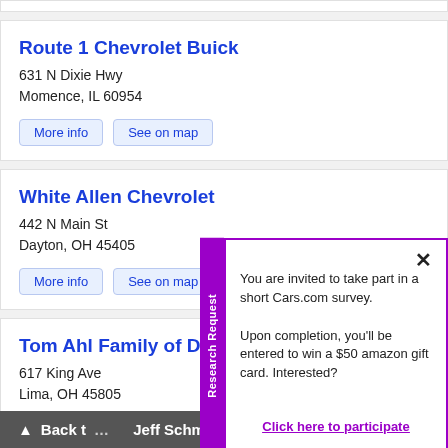Route 1 Chevrolet Buick
631 N Dixie Hwy
Momence, IL 60954
More info
See on map
White Allen Chevrolet
442 N Main St
Dayton, OH 45405
More info
See on map
Tom Ahl Family of Dealers
617 King Ave
Lima, OH 45805
More info
See on map
You are invited to take part in a short Cars.com survey.

Upon completion, you'll be entered to win a $50 amazon gift card. Interested?

Click here to participate
Jeff Schmitt Chevrolet South
▲ Back t...